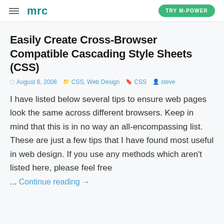mrc | TRY M-POWER
Easily Create Cross-Browser Compatible Cascading Style Sheets (CSS)
August 6, 2008  CSS, Web Design  CSS  steve
I have listed below several tips to ensure web pages look the same across different browsers. Keep in mind that this is in no way an all-encompassing list. These are just a few tips that I have found most useful in web design. If you use any methods which aren't listed here, please feel free ... Continue reading →